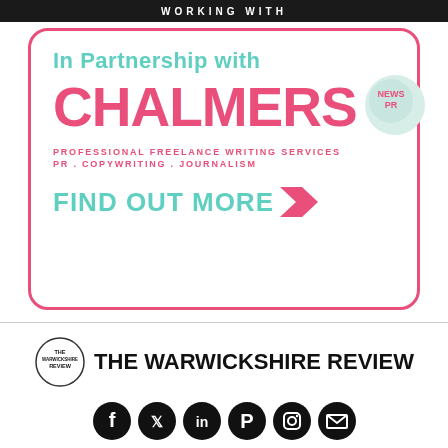WORKING WITH
[Figure (infographic): In Partnership with Chalmers News PR advertisement box with pink rounded border. Text reads: In Partnership with CHALMERS (large pink bold), NEWS PR (in speech bubble), PROFESSIONAL FREELANCE WRITING SERVICES, PR . COPYWRITING . JOURNALISM, FIND OUT MORE with chevron arrow.]
[Figure (logo): The Warwickshire Review logo circle and text. Circle logo with THE WARWICKSHIRE REVIEW text inside. Next to it bold text THE WARWICKSHIRE REVIEW. Below: social media icons for Facebook, Twitter, LinkedIn, Pinterest, Instagram, Email.]